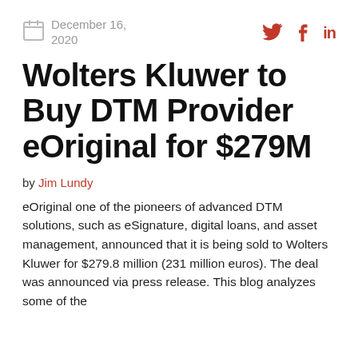December 16, 2020
Wolters Kluwer to Buy DTM Provider eOriginal for $279M
by Jim Lundy
eOriginal one of the pioneers of advanced DTM solutions, such as eSignature, digital loans, and asset management, announced that it is being sold to Wolters Kluwer for $279.8 million (231 million euros). The deal was announced via press release. This blog analyzes some of the